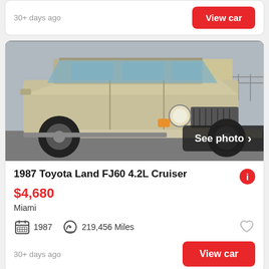30+ days ago
View car
[Figure (photo): 1987 Toyota Land Cruiser FJ60 in gold/beige color, front 3/4 view, lifted with large off-road tires, parked in a lot with a building in the background. 'See photo >' overlay in bottom right corner.]
1987 Toyota Land FJ60 4.2L Cruiser
$4,680
Miami
1987
219,456 Miles
30+ days ago
View car